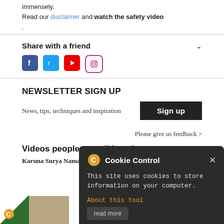immensely.
Read our disclaimer and watch the safety video
.
Share with a friend
[Figure (other): Social media icons: Facebook, Twitter, YouTube, Instagram]
NEWSLETTER SIGN UP
News, tips, techniques and inspiration
Sign up
Please give us feedback >
[Figure (screenshot): Cookie Control popup overlay with dark background, showing cookie notice and About this tool link]
Videos people are talking about
Karuna Surya Namaskara